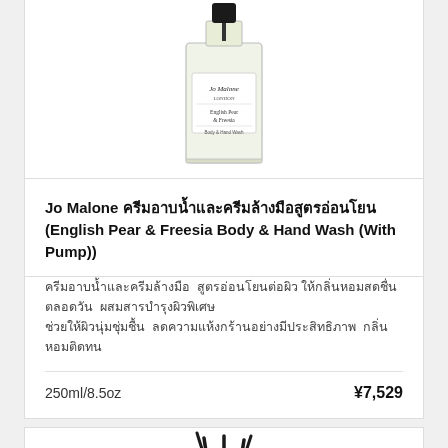[Figure (photo): Jo Malone English Pear & Freesia Body & Hand Wash bottle with pump, pale yellow liquid in clear glass rectangular bottle with black cap]
Jo Malone ครีมอาบน้ำและครีมล้างมือ (English Pear & Freesia Body & Hand Wash (With Pump))
ครีมอาบน้ำและครีมล้างมือ สูตรอ่อนโยนต่อผิว ให้กลิ่นหอมสดชื่นตลอดวัน ผสมสารบำรุงผิวพิเศษ ช่วยให้ผิวนุ่มชุ่มชื้น ลดความแห้งกร้าน
250ml/8.5oz
¥7,529
[Figure (photo): Reed diffuser sticks, black thin reeds arranged in a fan shape]